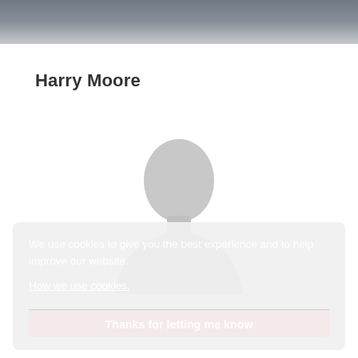[Figure (photo): Dark background header image area, partially visible, appears to be a blurred outdoor scene]
Harry Moore
[Figure (illustration): Generic grey placeholder avatar/silhouette of a person (head and shoulders), used as a profile photo placeholder]
We use cookies to give you the best experience and to help improve our website.
How we use cookies.
Thanks for letting me know